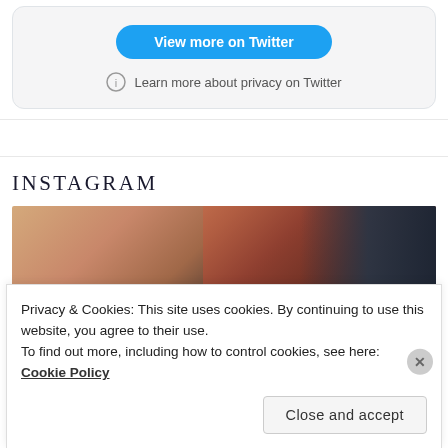[Figure (screenshot): Twitter embedded widget card with 'View more on Twitter' blue button and privacy link]
INSTAGRAM
[Figure (photo): Instagram photo showing a building exterior with brick wall and dark curtain/covering]
Privacy & Cookies: This site uses cookies. By continuing to use this website, you agree to their use.
To find out more, including how to control cookies, see here: Cookie Policy
Close and accept